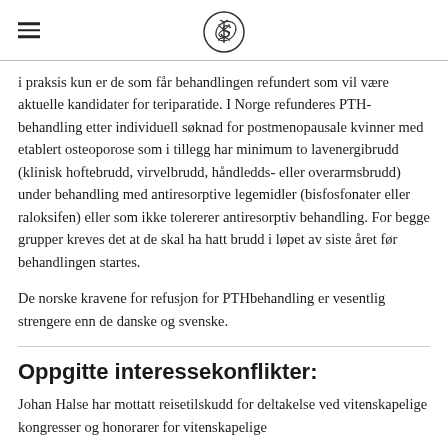[hamburger menu] [medical caduceus logo]
i praksis kun er de som får behandlingen refundert som vil være aktuelle kandidater for teriparatide. I Norge refunderes PTH-behandling etter individuell søknad for postmenopausale kvinner med etablert osteoporose som i tillegg har minimum to lavenergibrudd (klinisk hoftebrudd, virvelbrudd, håndledds- eller overarmsbrudd) under behandling med antiresorptive legemidler (bisfosfonater eller raloksifen) eller som ikke tolererer antiresorptiv behandling. For begge grupper kreves det at de skal ha hatt brudd i løpet av siste året før behandlingen startes.
De norske kravene for refusjon for PTHbehandling er vesentlig strengere enn de danske og svenske.
Oppgitte interessekonflikter:
Johan Halse har mottatt reisetilskudd for deltakelse ved vitenskapelige kongresser og honorarer for vitenskapelige